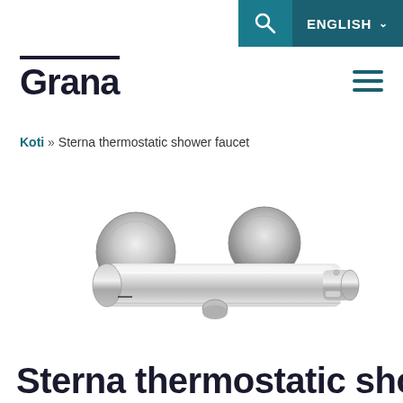ENGLISH
Grana
Koti » Sterna thermostatic shower faucet
[Figure (photo): Chrome thermostatic shower faucet (Sterna model) with cylindrical body and two round wall mounting flanges, shown in profile view on white background.]
Sterna thermostatic shower faucet